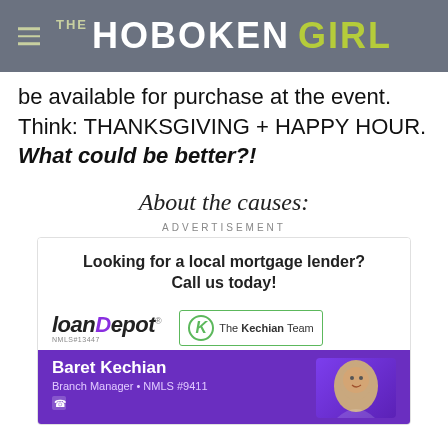THE HOBOKEN GIRL
be available for purchase at the event. Think: THANKSGIVING + HAPPY HOUR. What could be better?!
About the causes:
ADVERTISEMENT
[Figure (photo): Advertisement for loanDepot featuring The Kechian Team and Baret Kechian, Branch Manager, NMLS #9411. Text reads: Looking for a local mortgage lender? Call us today!]